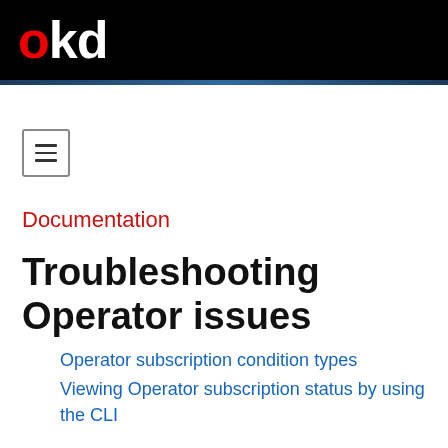okd
[Figure (other): Hamburger menu button icon with three horizontal lines inside a square border]
Documentation
Troubleshooting Operator issues
Operator subscription condition types
Viewing Operator subscription status by using the CLI